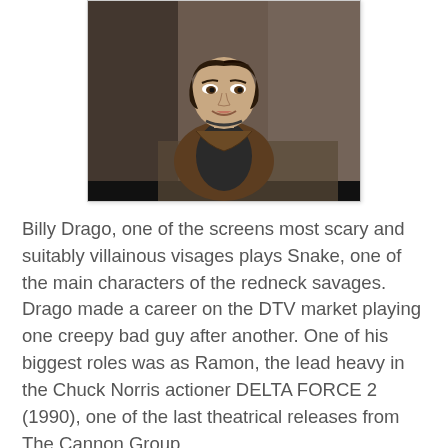[Figure (photo): A young man with slicked-back hair wearing a brown open shirt over a dark t-shirt, smiling slightly, outdoors against a dark background. This appears to be a film still of actor Billy Drago.]
Billy Drago, one of the screens most scary and suitably villainous visages plays Snake, one of the main characters of the redneck savages. Drago made a career on the DTV market playing one creepy bad guy after another. One of his biggest roles was as Ramon, the lead heavy in the Chuck Norris actioner DELTA FORCE 2 (1990), one of the last theatrical releases from The Cannon Group.